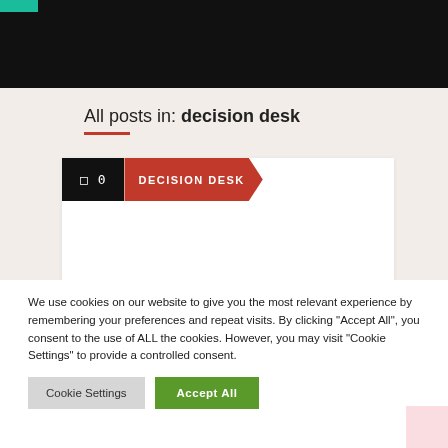All posts in: decision desk
□ 0   DECISION DESK
We use cookies on our website to give you the most relevant experience by remembering your preferences and repeat visits. By clicking "Accept All", you consent to the use of ALL the cookies. However, you may visit "Cookie Settings" to provide a controlled consent.
Cookie Settings   Accept All